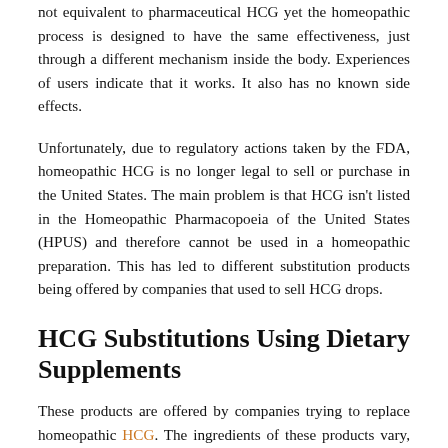not equivalent to pharmaceutical HCG yet the homeopathic process is designed to have the same effectiveness, just through a different mechanism inside the body. Experiences of users indicate that it works. It also has no known side effects.
Unfortunately, due to regulatory actions taken by the FDA, homeopathic HCG is no longer legal to sell or purchase in the United States. The main problem is that HCG isn't listed in the Homeopathic Pharmacopoeia of the United States (HPUS) and therefore cannot be used in a homeopathic preparation. This has led to different substitution products being offered by companies that used to sell HCG drops.
HCG Substitutions Using Dietary Supplements
These products are offered by companies trying to replace homeopathic HCG. The ingredients of these products vary, but most often they consist of a mix of amino acids. Sometimes they are regular dietary supplements, and sometimes they are mixed homeopathic preparations. The mixed homeopathic preparations are usually just as illegal as homeopathic HCG because all their ingredients aren't listed in the HPUS.